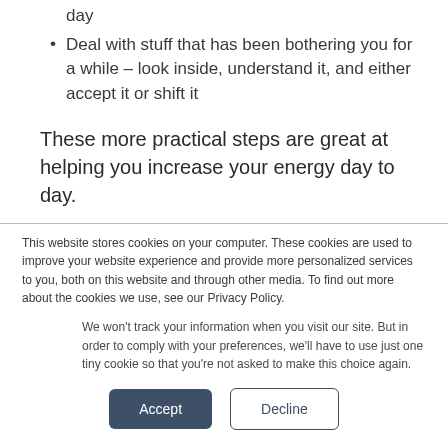day
Deal with stuff that has been bothering you for a while – look inside, understand it, and either accept it or shift it
These more practical steps are great at helping you increase your energy day to day.
This website stores cookies on your computer. These cookies are used to improve your website experience and provide more personalized services to you, both on this website and through other media. To find out more about the cookies we use, see our Privacy Policy.
We won't track your information when you visit our site. But in order to comply with your preferences, we'll have to use just one tiny cookie so that you're not asked to make this choice again.
Accept
Decline